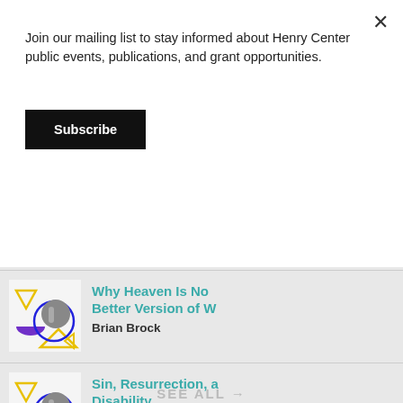Join our mailing list to stay informed about Henry Center public events, publications, and grant opportunities.
Subscribe
[Figure (illustration): Collage-style graphic with geometric shapes (triangles, circles, crescents) in yellow, purple, blue on white/gray, with black-and-white hand and face imagery]
Why Heaven Is Not a Better Version of W...
Brian Brock
[Figure (illustration): Same collage-style graphic as above]
Sin, Resurrection, a... Disability
Devan Stahl
SEE ALL →